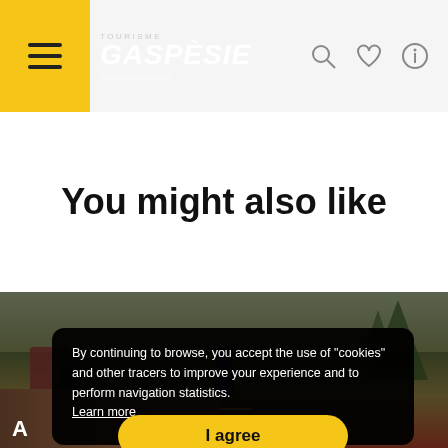TOURISME GASPÈSIE
You might also like
[Figure (photo): Outdoor music event photo with people watching performers against a scenic landscape background, with text overlay 'Music Events']
[Figure (photo): Close-up photo of an older man wearing a hat, partially visible at bottom left, with letter 'A' visible text overlay]
By continuing to browse, you accept the use of "cookies" and other tracers to improve your experience and to perform navigation statistics. Learn more
I agree